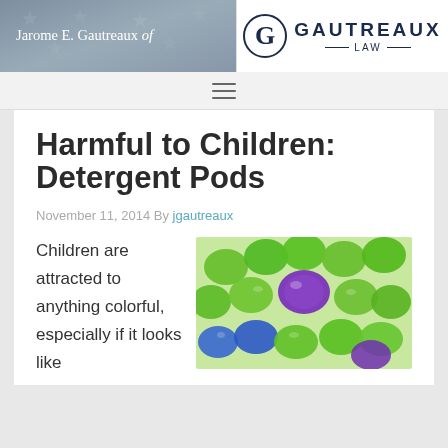Jarome E. Gautreaux of | GAUTREAUX LAW
Harmful to Children: Detergent Pods
November 11, 2014 By jgautreaux
Children are attracted to anything colorful, especially if it looks like...
[Figure (photo): Colorful laundry detergent pods in green, blue, and purple colors packed together]